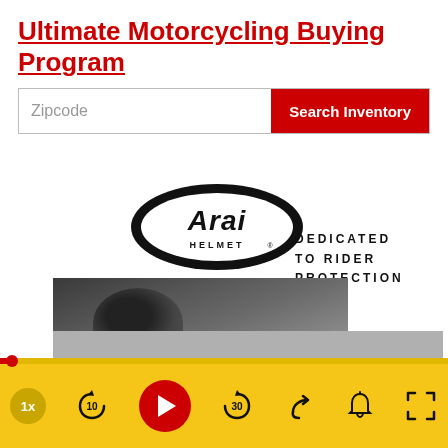Ultimate Motorcycling Buying Program
[Figure (screenshot): Search bar with Zipcode input field and red Search Inventory button]
[Figure (logo): Arai Helmet logo - oval black logo with Arai script lettering and HELMET text below]
DEDICATED TO RIDER PROTECTION
[Figure (photo): Photo of a motorcycle rider wearing an Arai helmet, cropped close]
[Figure (screenshot): Video player controls bar with yellow background: 1x speed button, rewind 10, play button, forward 30, share, bell notification, fullscreen]